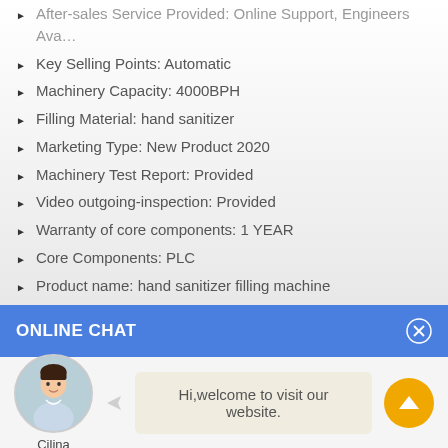After-sales Service Provided: Online Support, Engineers Ava...
Key Selling Points: Automatic
Machinery Capacity: 4000BPH
Filling Material: hand sanitizer
Marketing Type: New Product 2020
Machinery Test Report: Provided
Video outgoing-inspection: Provided
Warranty of core components: 1 YEAR
Core Components: PLC
Product name: hand sanitizer filling machine
Capacity: 10-40 bottles/min
Filling volume: 50-1000ml
Filling accurancy: ≤±1%
ONLINE CHAT
[Figure (illustration): Customer service representative avatar named Cilina with a speech bubble saying 'Hi,welcome to visit our website.']